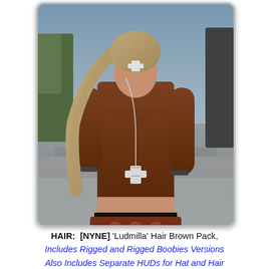[Figure (photo): A 3D virtual world character (Second Life avatar) — a woman with a long braided blonde/brown hair, wearing a brown ribbed sweater, a decorative cross necklace, a patterned red/brown boho skirt with a black belt, and a bracelet. Background shows stone steps and outdoor environment.]
HAIR:  [NYNE] 'Ludmilla' Hair Brown Pack, Includes Rigged and Rigged Boobies Versions Also Includes Separate HUDs for Hat and Hair with 8 Hat, 8 Base and 11 Streak Hair Colors